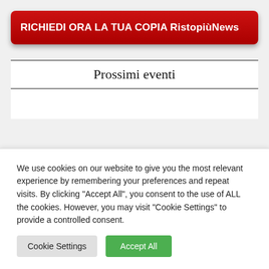RICHIEDI ORA LA TUA COPIA RistopiùNews
Prossimi eventi
We use cookies on our website to give you the most relevant experience by remembering your preferences and repeat visits. By clicking "Accept All", you consent to the use of ALL the cookies. However, you may visit "Cookie Settings" to provide a controlled consent.
Cookie Settings
Accept All